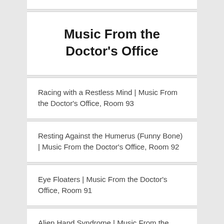Music From the Doctor's Office
Racing with a Restless Mind | Music From the Doctor's Office, Room 93
Resting Against the Humerus (Funny Bone) | Music From the Doctor's Office, Room 92
Eye Floaters | Music From the Doctor's Office, Room 91
Alien Hand Syndrome | Music From the Doctor's Office, Room 90
Dyslexia in Disguise | Music From the Doctor's Office, Room 89